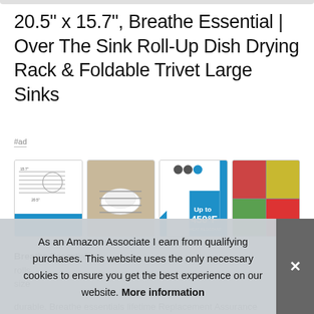20.5" x 15.7", Breathe Essential | Over The Sink Roll-Up Dish Drying Rack & Foldable Trivet Large Sinks
#ad
[Figure (screenshot): Four product thumbnail images of a roll-up dish drying rack showing dimensions, plates on rack, heat resistant 450°F badge, and food items on the rack.]
Breathe Essential
rolls ... size ... durable. Breathe essentials lifetime Replacement Assurance
As an Amazon Associate I earn from qualifying purchases. This website uses the only necessary cookies to ensure you get the best experience on our website. More information